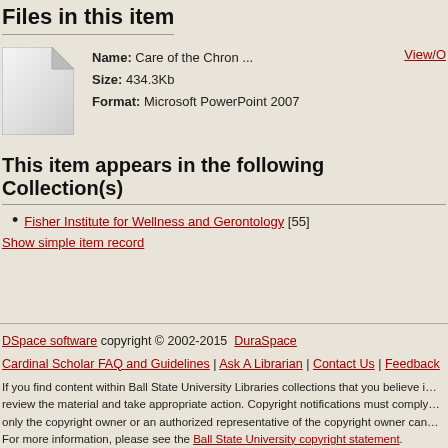Files in this item
| Icon | Name | Size | Format | Action |
| --- | --- | --- | --- | --- |
| [file icon] | Care of the Chron ... | 434.3Kb | Microsoft PowerPoint 2007 | View/O... |
This item appears in the following Collection(s)
Fisher Institute for Wellness and Gerontology [55]
Show simple item record
DSpace software copyright © 2002-2015 DuraSpace
Cardinal Scholar FAQ and Guidelines | Ask A Librarian | Contact Us | Feedback
If you find content within Ball State University Libraries collections that you believe i...
review the material and take appropriate action. Copyright notifications must comply...
only the copyright owner or an authorized representative of the copyright owner can...
For more information, please see the Ball State University copyright statement.